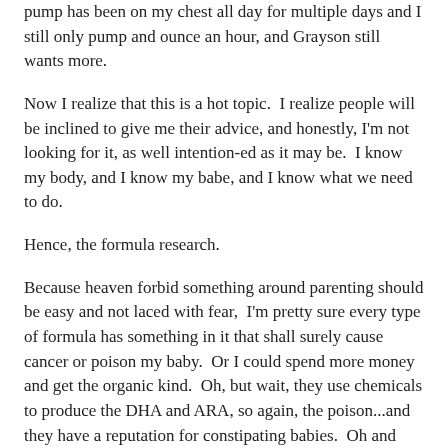pump has been on my chest all day for multiple days and I still only pump and ounce an hour, and Grayson still wants more.
Now I realize that this is a hot topic.  I realize people will be inclined to give me their advice, and honestly, I'm not looking for it, as well intention-ed as it may be.  I know my body, and I know my babe, and I know what we need to do.
Hence, the formula research.
Because heaven forbid something around parenting should be easy and not laced with fear,  I'm pretty sure every type of formula has something in it that shall surely cause cancer or poison my baby.  Or I could spend more money and get the organic kind.  Oh, but wait, they use chemicals to produce the DHA and ARA, so again, the poison...and they have a reputation for constipating babies.  Oh and since it's base is derived from rice, it might have high levels of arsenic in it.  Awesome.
So after reading three hours worth of reviews on different brands and types of formulas on Amazon, I have resigned